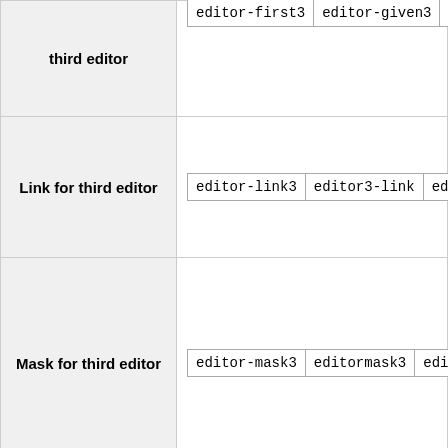| Field description | Parameter name variants |
| --- | --- |
| third editor | editor-first3 | editor-given3 | ... |
| Link for third editor | editor-link3 | editor3-link | edi... |
| Mask for third editor | editor-mask3 | editormask3 | edit... |
| Last name of fourth editor | editor-last4 | editor-surname4 |